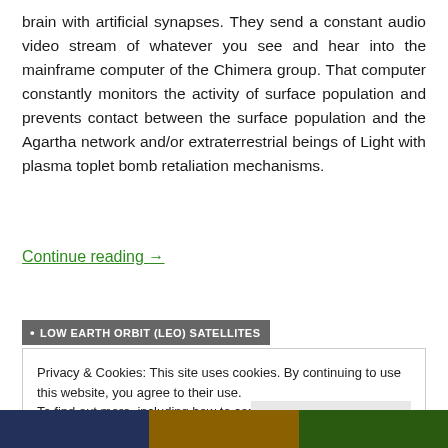brain with artificial synapses. They send a constant audio video stream of whatever you see and hear into the mainframe computer of the Chimera group. That computer constantly monitors the activity of surface population and prevents contact between the surface population and the Agartha network and/or extraterrestrial beings of Light with plasma toplet bomb retaliation mechanisms.
Continue reading →
• LOW EARTH ORBIT (LEO) SATELLITES
Privacy & Cookies: This site uses cookies. By continuing to use this website, you agree to their use. To find out more, including how to control cookies, see here: Cookie Policy
Close and accept
[Figure (photo): Bottom strip showing partial images in three columns with dark blue, gold/brown, and green color backgrounds]